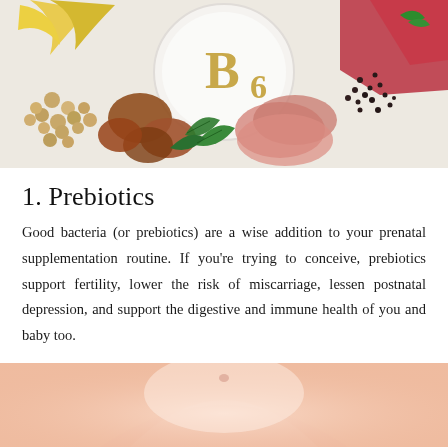[Figure (photo): Overhead photo of various foods rich in Vitamin B6 arranged around a white circular plate with 'B6' text. Foods include bananas, potatoes, spinach leaves, chickpeas, meat, and seeds on a white background.]
1. Prebiotics
Good bacteria (or prebiotics) are a wise addition to your prenatal supplementation routine. If you're trying to conceive, prebiotics support fertility, lower the risk of miscarriage, lessen postnatal depression, and support the digestive and immune health of you and baby too.
[Figure (photo): Close-up photo of a pregnant woman's belly, showing skin tones of pink and peach, cropped at the bottom of the page.]